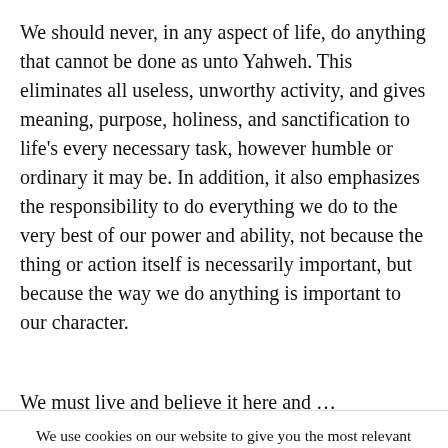We should never, in any aspect of life, do anything that cannot be done as unto Yahweh. This eliminates all useless, unworthy activity, and gives meaning, purpose, holiness, and sanctification to life’s every necessary task, however humble or ordinary it may be. In addition, it also emphasizes the responsibility to do everything we do to the very best of our power and ability, not because the thing or action itself is necessarily important, but because the way we do anything is important to our character.
We … (partial, cut off)
We use cookies on our website to give you the most relevant experience by remembering your preferences and repeat visits. By clicking “Accept”, you consent to the use of ALL the cookies.
Cookie settings
ACCEPT